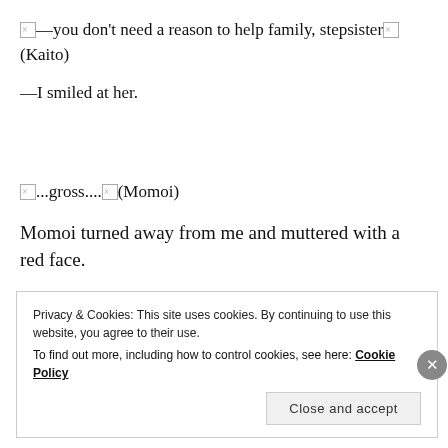□—you don't need a reason to help family, stepsister□ (Kaito)
—I smiled at her.
□...gross....□(Momoi)
Momoi turned away from me and muttered with a red face.
Privacy & Cookies: This site uses cookies. By continuing to use this website, you agree to their use.
To find out more, including how to control cookies, see here: Cookie Policy
Close and accept